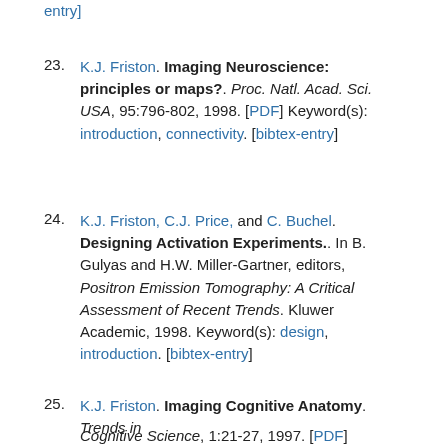entry]
23. K.J. Friston. Imaging Neuroscience: principles or maps?. Proc. Natl. Acad. Sci. USA, 95:796-802, 1998. [PDF] Keyword(s): introduction, connectivity. [bibtex-entry]
24. K.J. Friston, C.J. Price, and C. Buchel. Designing Activation Experiments.. In B. Gulyas and H.W. Miller-Gartner, editors, Positron Emission Tomography: A Critical Assessment of Recent Trends. Kluwer Academic, 1998. Keyword(s): design, introduction. [bibtex-entry]
25. K.J. Friston. Imaging Cognitive Anatomy. Trends in Cognitive Science, 1:21-27, 1997. [PDF] Keyword(s):